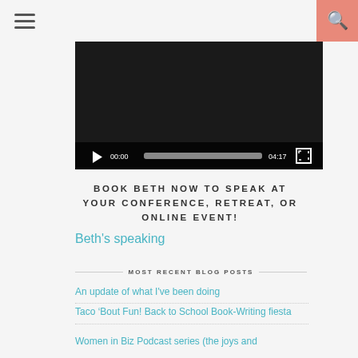[Figure (screenshot): Video player with dark background, play button, progress bar showing 00:00 / 04:17, and fullscreen button]
BOOK BETH NOW TO SPEAK AT YOUR CONFERENCE, RETREAT, OR ONLINE EVENT!
Beth's speaking
MOST RECENT BLOG POSTS
An update of what I've been doing
Taco ‘Bout Fun! Back to School Book-Writing fiesta
Women in Biz Podcast series (the joys and